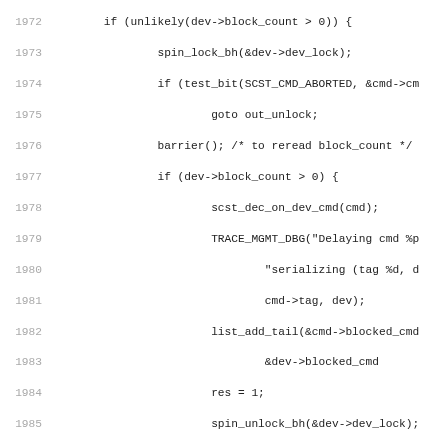Source code listing, lines 1972-2003, C programming language showing device block count and serialization logic